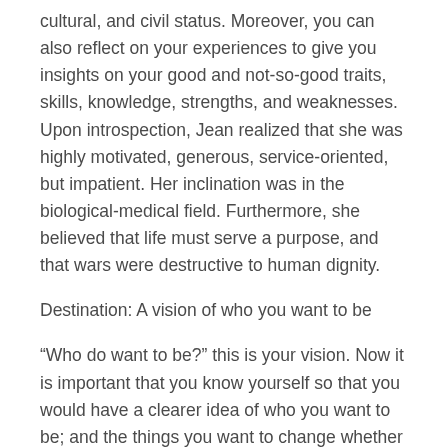cultural, and civil status. Moreover, you can also reflect on your experiences to give you insights on your good and not-so-good traits, skills, knowledge, strengths, and weaknesses. Upon introspection, Jean realized that she was highly motivated, generous, service-oriented, but impatient. Her inclination was in the biological-medical field. Furthermore, she believed that life must serve a purpose, and that wars were destructive to human dignity.
Destination: A vision of who you want to be
“Who do want to be?” this is your vision. Now it is important that you know yourself so that you would have a clearer idea of who you want to be; and the things you want to change whether they are attitudes, habits, or points of view. If you hardly know yourself, then your vision and targets for the future would also